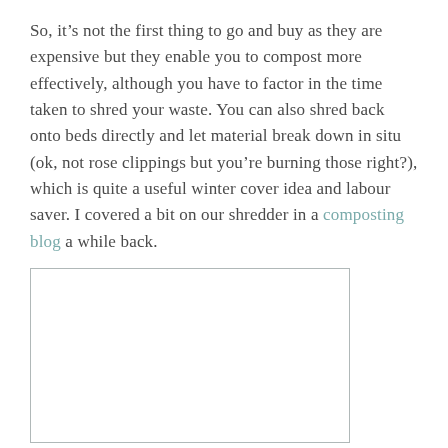So, it's not the first thing to go and buy as they are expensive but they enable you to compost more effectively, although you have to factor in the time taken to shred your waste. You can also shred back onto beds directly and let material break down in situ (ok, not rose clippings but you're burning those right?), which is quite a useful winter cover idea and labour saver. I covered a bit on our shredder in a composting blog a while back.
[Figure (photo): Empty white image placeholder with a light grey border]